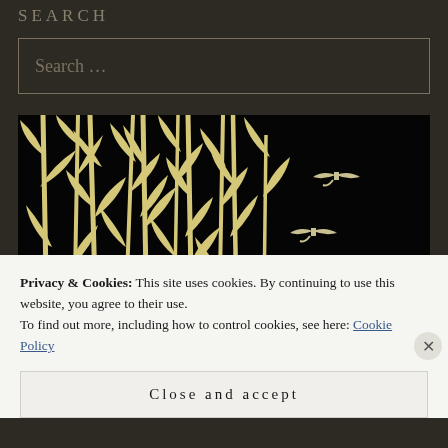SEARCH
Search ...
[Figure (illustration): Japanese woodblock print style artwork showing tall bamboo or reed stalks in cream/yellow against a deep black background, with deer visible among the reeds on the left side, three birds in flight on the right side, and a full moon rising at the lower right.]
Privacy & Cookies: This site uses cookies. By continuing to use this website, you agree to their use.
To find out more, including how to control cookies, see here: Cookie Policy
Close and accept